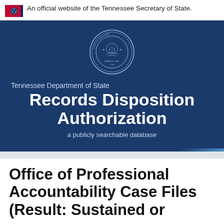An official website of the Tennessee Secretary of State.
[Figure (logo): Tennessee Department of State seal/logo with banner title 'Records Disposition Authorization — a publicly searchable database']
Office of Professional Accountability Case Files (Result: Sustained or